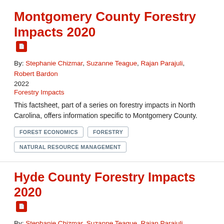Montgomery County Forestry Impacts 2020
By: Stephanie Chizmar, Suzanne Teague, Rajan Parajuli, Robert Bardon
2022
Forestry Impacts
This factsheet, part of a series on forestry impacts in North Carolina, offers information specific to Montgomery County.
FOREST ECONOMICS
FORESTRY
NATURAL RESOURCE MANAGEMENT
Hyde County Forestry Impacts 2020
By: Stephanie Chizmar, Suzanne Teague, Rajan Parajuli, Robert Bardon
2022
Forestry Impacts
This factsheet, part of a series on forestry impacts in